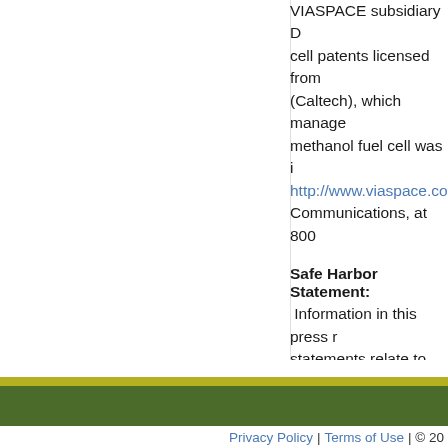VIASPACE subsidiary D... cell patents licensed from (Caltech), which manage... methanol fuel cell was i... http://www.viaspace.com Communications, at 800...
Safe Harbor Statement:
Information in this press r... statements relate to future e... uncertainties and other fact... or achievements to be mate... performance or achieveme... factors include, without lim... and Exchange Commission... December 31, 2008, as wel... for the Company's product:... alternative alternative ener... weather, crop damage and ... little or no control.
Privacy Policy | Terms of Use | © 20